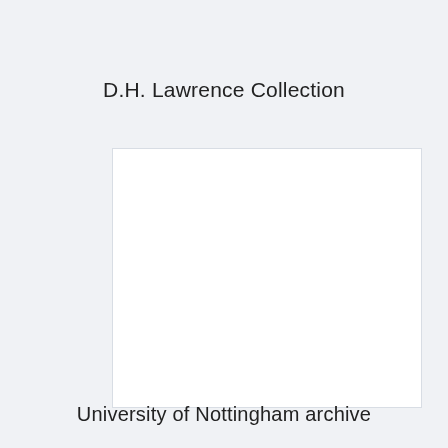D.H. Lawrence Collection
Transaction error
University of Nottingham archive